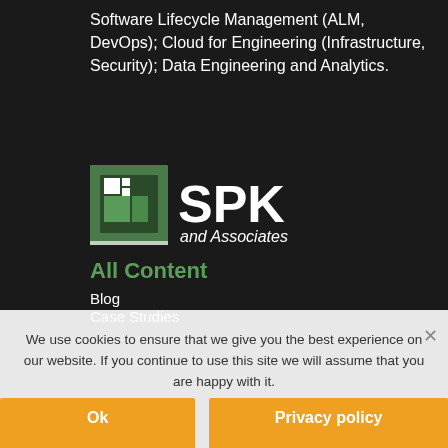Software Lifecycle Management (ALM, DevOps); Cloud for Engineering (Infrastructure, Security); Data Engineering and Analytics.
[Figure (logo): SPK and Associates logo — green square icon with white squares, followed by large white 'SPK' text and italic 'and Associates' below]
All Content
Blog
Case Studies
We use cookies to ensure that we give you the best experience on our website. If you continue to use this site we will assume that you are happy with it.
Ok
Privacy policy